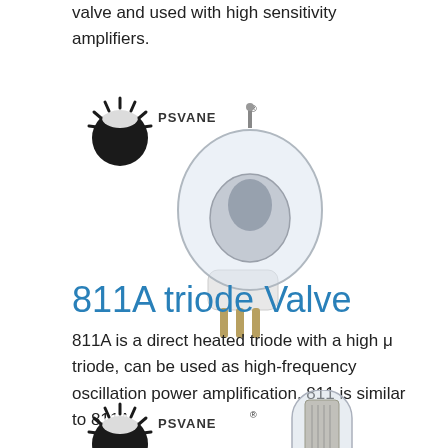valve and used with high sensitivity amplifiers.
[Figure (photo): PSVANE branded vacuum tube/valve with a large bulbous glass envelope, white ceramic base and gold pins. PSVANE logo shown in top left corner.]
811A triode Valve
811A is a direct heated triode with a high μ triode, can be used as high-frequency oscillation power amplification. 811 is similar to 811A.
[Figure (photo): PSVANE branded 811A triode vacuum tube with glass envelope, visible internal elements. PSVANE logo shown in top left corner.]